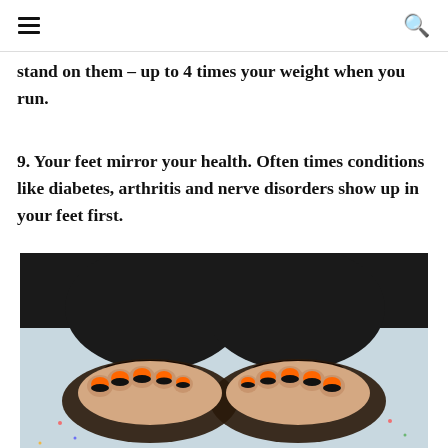≡  🔍
stand on them – up to 4 times your weight when you run.
9. Your feet mirror your health. Often times conditions like diabetes, arthritis and nerve disorders show up in your feet first.
[Figure (photo): Close-up photo of two feet wearing dark flip-flop sandals with orange and black painted toenails, viewed from above on a light blue surface. The person is wearing dark pants/leggings.]